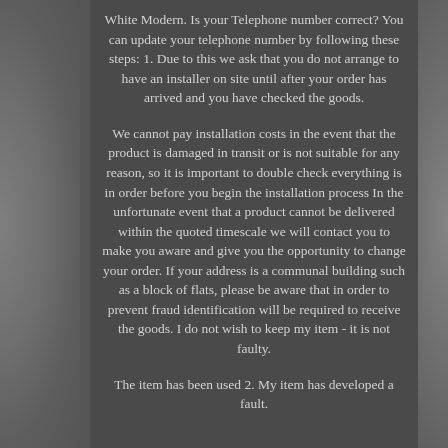White Modern. Is your Telephone number correct? You can update your telephone number by following these steps: 1. Due to this we ask that you do not arrange to have an installer on site until after your order has arrived and you have checked the goods.
We cannot pay installation costs in the event that the product is damaged in transit or is not suitable for any reason, so it is important to double check everything is in order before you begin the installation process In the unfortunate event that a product cannot be delivered within the quoted timescale we will contact you to make you aware and give you the opportunity to change your order. If your address is a communal building such as a block of flats, please be aware that in order to prevent fraud identification will be required to receive the goods. I do not wish to keep my item - it is not faulty.
The item has been used 2. My item has developed a fault.